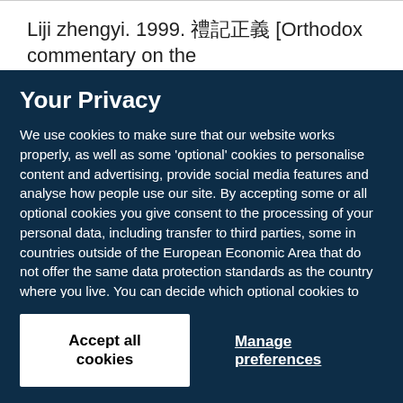Liji zhengyi. 1999. 禮記正義 [Orthodox commentary on the
Your Privacy
We use cookies to make sure that our website works properly, as well as some 'optional' cookies to personalise content and advertising, provide social media features and analyse how people use our site. By accepting some or all optional cookies you give consent to the processing of your personal data, including transfer to third parties, some in countries outside of the European Economic Area that do not offer the same data protection standards as the country where you live. You can decide which optional cookies to accept by clicking on 'Manage Settings', where you can also find more information about how your personal data is processed. Further information can be found in our privacy policy.
Accept all cookies
Manage preferences